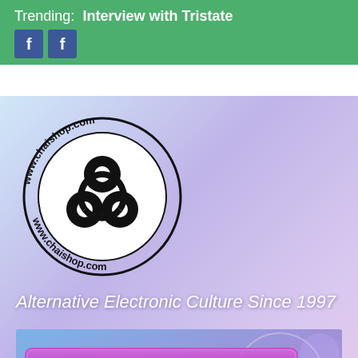Trending:  Interview with Tristate
[Figure (logo): www.chaishop.com circular logo with black knotwork symbol]
Alternative Electronic Culture Since 1997
[Figure (illustration): Hadra TICKETS banner with purple stylized 'Hadra' text and 'TICKETS' in black on a blue/purple decorative background]
Search ...
Home > Place to be > Keep natural ressources